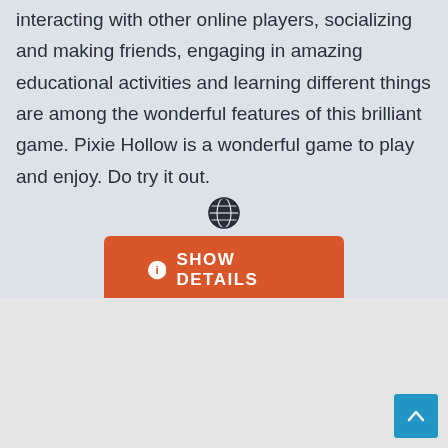interacting with other online players, socializing and making friends, engaging in amazing educational activities and learning different things are among the wonderful features of this brilliant game. Pixie Hollow is a wonderful game to play and enjoy. Do try it out.
[Figure (other): Globe icon (world/internet symbol) centered on page]
[Figure (other): Orange button with info icon and text SHOW DETAILS]
ADVERTISEMENT